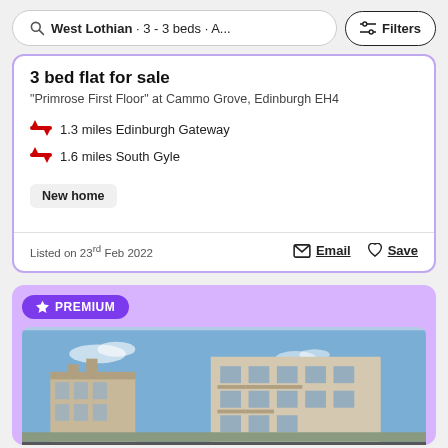West Lothian · 3 - 3 beds · A... Filters
3 bed flat for sale
"Primrose First Floor" at Cammo Grove, Edinburgh EH4
1.3 miles Edinburgh Gateway
1.6 miles South Gyle
New home
Listed on 23rd Feb 2022
Email  Save
PREMIUM
[Figure (photo): Exterior photo of modern residential apartment building under blue sky]